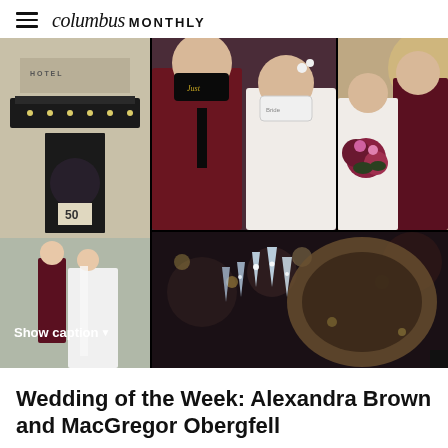columbus MONTHLY
[Figure (photo): Collage of five wedding photos: left - bride and groom posing outside a hotel entrance; top center - couple facing each other wearing personalized face masks (his black, hers white); top right - couple smiling and embracing outdoors with floral bouquet; bottom right - close-up of crystal chandelier or glass decor with bokeh background.]
Show caption
Wedding of the Week: Alexandra Brown and MacGregor Obergfell